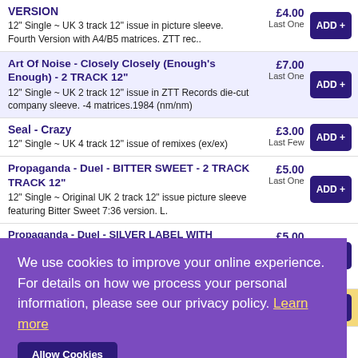VERSION
12" Single ~ UK 3 track 12" issue in picture sleeve. Fourth Version with A4/B5 matrices. ZTT rec..
£4.00 Last One
Art Of Noise - Closely Closely (Enough's Enough) - 2 TRACK 12"
12" Single ~ UK 2 track 12" issue in ZTT Records die-cut company sleeve. -4 matrices.1984 (nm/nm)
£7.00 Last One
Seal - Crazy
12" Single ~ UK 4 track 12" issue of remixes (ex/ex)
£3.00 Last Few
Propaganda - Duel - BITTER SWEET - 2 TRACK TRACK 12"
12" Single ~ Original UK 2 track 12" issue picture sleeve featuring Bitter Sweet 7:36 version. L.
£5.00 Last One
Propaganda - Duel - SILVER LABEL WITH CORRECT CREDIT
7" Single ~ Original UK 2 track silver ZTT label issue in plain sleeve. Correct "S.J. Lipson" cr..
£5.00 Last One
Marbles, The - Falling Over Ground
CD Single ~ 3 track UK issue
£2.00 Last One
We use cookies to improve your online experience. For details on how we process your personal information, please see our privacy policy. Learn more